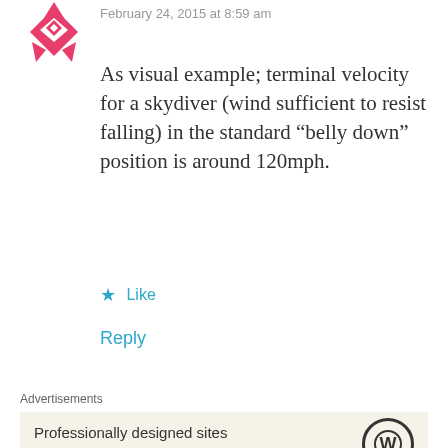February 24, 2015 at 8:59 am
As visual example; terminal velocity for a skydiver (wind sufficient to resist falling) in the standard “belly down” position is around 120mph.
Like
Reply
Advertisements
[Figure (infographic): WordPress advertisement: Professionally designed sites in less than a week, with WordPress logo]
REPORT THIS AD
jeff weiss
February 19, 2015 at 10:26 pm
Having over 50 ascents on Mt